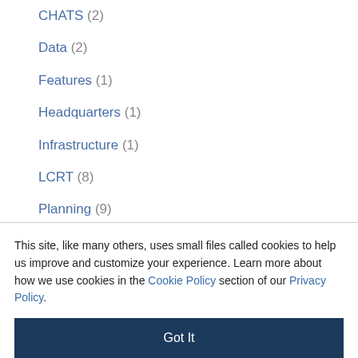CHATS (2)
Data (2)
Features (1)
Headquarters (1)
Infrastructure (1)
LCRT (8)
Planning (9)
SC Works (6)
Transit (15)
This site, like many others, uses small files called cookies to help us improve and customize your experience. Learn more about how we use cookies in the Cookie Policy section of our Privacy Policy.